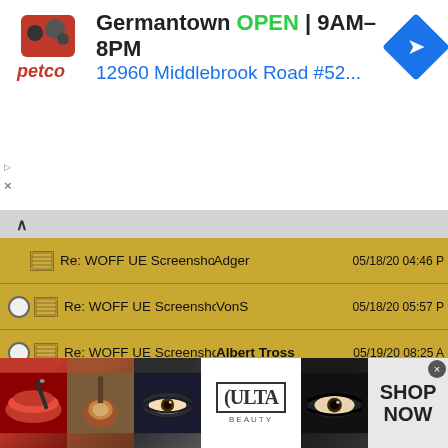[Figure (screenshot): Petco advertisement banner showing store in Germantown, OPEN 9AM-8PM, address 12960 Middlebrook Road #52..., with navigation arrow icon]
Re: WOFF UE Screenshots  Adger  05/18/20 04:46 PM
Re: WOFF UE Screenshots  VonS  05/18/20 05:57 PM
Re: WOFF UE Screenshots  Albert Tross  05/19/20 08:25 AM
Re: WOFF UE Screenshots  BuckeyeBob  05/19/20 01:23 PM
Re: WOFF UE Screenshots  Adger  05/19/20 01:49 PM
Re: WOFF UE Screenshots  Albert Tross  05/20/20 02:09 PM
Re: WOFF UE Screenshots  Adger  05/20/20 10:11 PM
Re: WOFF UE Screenshots  Adger  05/20/20 10:40 PM
Re: WOFF UE Screenshots  Albert Tross  05/21/20 12:00 PM
[Figure (screenshot): Ulta Beauty advertisement banner with makeup photos and SHOP NOW call to action]